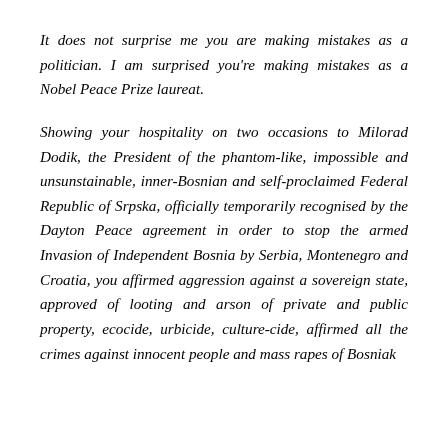It does not surprise me you are making mistakes as a politician. I am surprised you're making mistakes as a Nobel Peace Prize laureat.
Showing your hospitality on two occasions to Milorad Dodik, the President of the phantom-like, impossible and unsunstainable, inner-Bosnian and self-proclaimed Federal Republic of Srpska, officially temporarily recognised by the Dayton Peace agreement in order to stop the armed Invasion of Independent Bosnia by Serbia, Montenegro and Croatia, you affirmed aggression against a sovereign state, approved of looting and arson of private and public property, ecocide, urbicide, culture-cide, affirmed all the crimes against innocent people and mass rapes of Bosniak